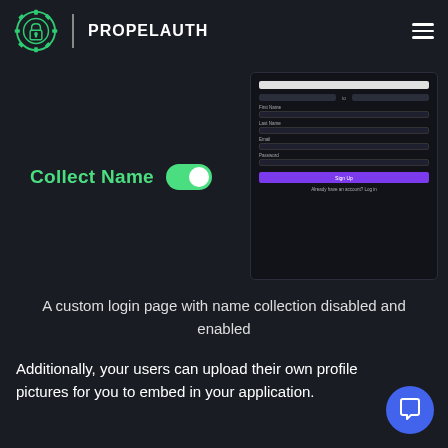PROPELAUTH
[Figure (screenshot): A UI showing a 'Collect Name' toggle switch (enabled/green) on the left, and a signup form with fields for First Name, Last Name, Email, Password, a purple Sign Up button, and a login link on the right. Dark themed interface.]
A custom login page with name collection disabled and enabled
Additionally, your users can upload their own profile pictures for you to embed in your application.